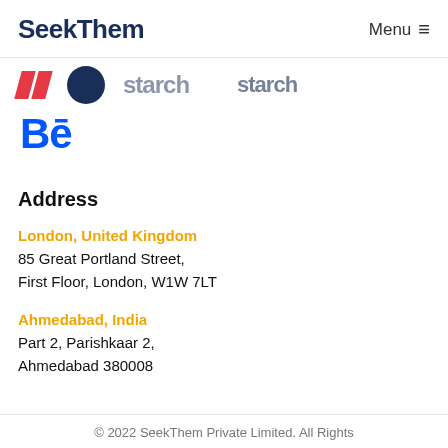SeekThem  Menu ≡
[Figure (logo): Partial logos strip: two red slash marks, a dark circle logo, partially visible 'starch' text logo]
[Figure (logo): Behance logo - blue 'Bē' symbol]
Address
London, United Kingdom
85 Great Portland Street,
First Floor, London, W1W 7LT
Ahmedabad, India
Part 2, Parishkaar 2,
Ahmedabad 380008
© 2022 SeekThem Private Limited. All Rights